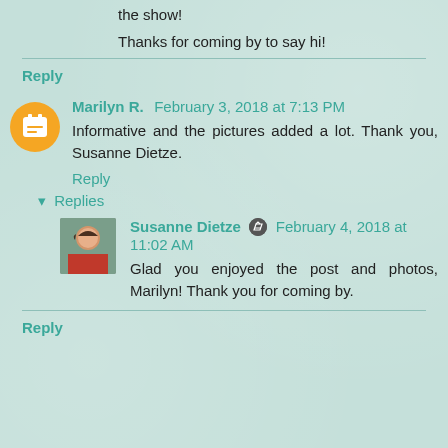the show!
Thanks for coming by to say hi!
Reply
Marilyn R.  February 3, 2018 at 7:13 PM
Informative and the pictures added a lot. Thank you, Susanne Dietze.
Reply
Replies
Susanne Dietze  February 4, 2018 at 11:02 AM
Glad you enjoyed the post and photos, Marilyn! Thank you for coming by.
Reply